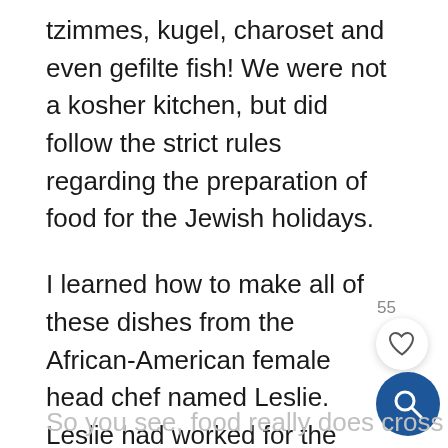tzimmes, kugel, charoset and even gefilte fish! We were not a kosher kitchen, but did follow the strict rules regarding the preparation of food for the Jewish holidays.
I learned how to make all of these dishes from the African-American female head chef named Leslie. Leslie had worked for the café for so long she had all these recipes and techniques ingrained in her head. She was Jewish, but didn't need to be to appreciate and learn about another culture or religious tradition.
So you see, food really does cross all